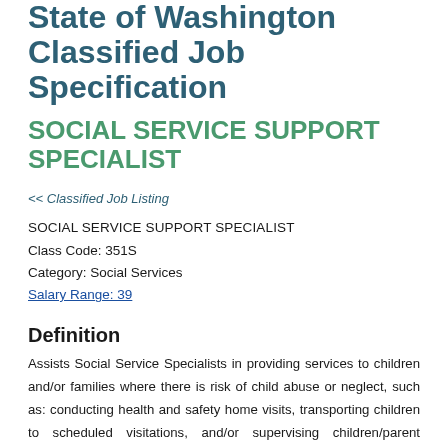State of Washington Classified Job Specification
SOCIAL SERVICE SUPPORT SPECIALIST
<< Classified Job Listing
SOCIAL SERVICE SUPPORT SPECIALIST
Class Code: 351S
Category: Social Services
Salary Range: 39
Definition
Assists Social Service Specialists in providing services to children and/or families where there is risk of child abuse or neglect, such as: conducting health and safety home visits, transporting children to scheduled visitations, and/or supervising children/parent visitations.